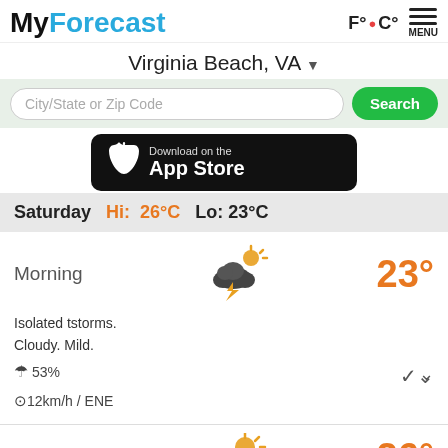MyForecast
Virginia Beach, VA
City/State or Zip Code  Search
[Figure (screenshot): Download on the App Store button]
Saturday  Hi: 26°C  Lo: 23°C
Morning  23°
Isolated tstorms. Cloudy. Mild. 53% 12km/h / ENE
Afternoon  26°